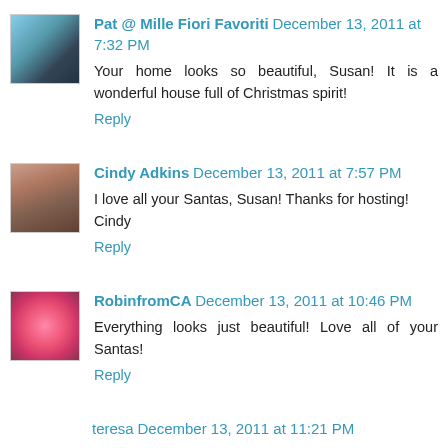[Figure (photo): Avatar photo of Pat showing outdoor scenic background with blue sky]
Pat @ Mille Fiori Favoriti December 13, 2011 at 7:32 PM
Your home looks so beautiful, Susan! It is a wonderful house full of Christmas spirit!
Reply
[Figure (photo): Avatar photo of Cindy showing woman with blonde hair]
Cindy Adkins December 13, 2011 at 7:57 PM
I love all your Santas, Susan! Thanks for hosting! Cindy
Reply
[Figure (photo): Avatar photo of Robin showing pink roses]
RobinfromCA December 13, 2011 at 10:46 PM
Everything looks just beautiful! Love all of your Santas!
Reply
teresa December 13, 2011 at 11:21 PM
It's all so beautiful, you do a great job decorating, you